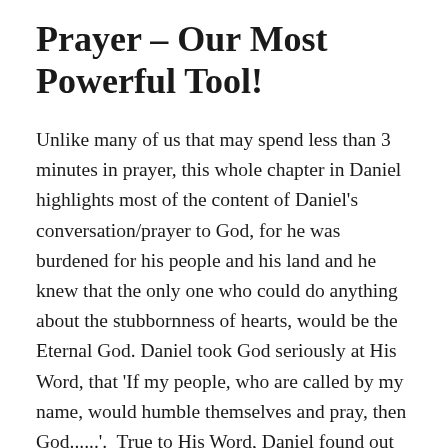Prayer – Our Most Powerful Tool!
Unlike many of us that may spend less than 3 minutes in prayer, this whole chapter in Daniel highlights most of the content of Daniel's conversation/prayer to God, for he was burdened for his people and his land and he knew that the only one who could do anything about the stubbornness of hearts, would be the Eternal God. Daniel took God seriously at His Word, that 'If my people, who are called by my name, would humble themselves and pray, then God......'.  True to His Word, Daniel found out that the minute he humbled himself, opened his mouth in prayer, then God began acting in response!